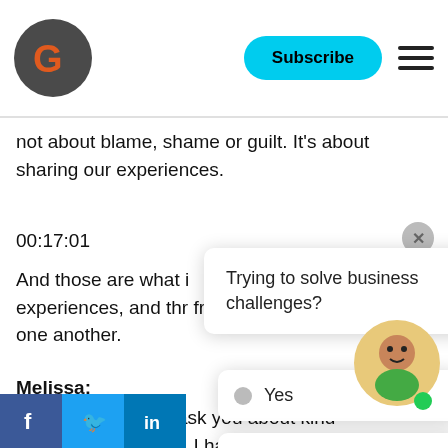Subscribe
not about blame, shame or guilt. It's about sharing our experiences.
00:17:01
And those are what i experiences, and thr from one another.
[Figure (other): Popup card with text: Trying to solve business challenges?]
[Figure (other): Close button (x) circle]
Melissa: So that's, I want to ask you about kind of middle managers. I have not senior you get, you're used to being in uncomfortable situations already, right? You're used to being in areas that are gray and so you lean on that kind of skill a little bit when going into
[Figure (other): Option buttons: Yes / Not yet. I'm looking for career info]
[Figure (other): Social media icons: Facebook, Twitter, LinkedIn]
[Figure (other): User avatar circle with green online dot]